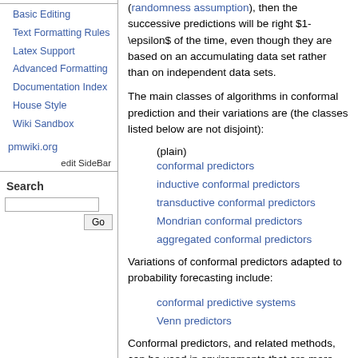Basic Editing
Text Formatting Rules
Latex Support
Advanced Formatting
Documentation Index
House Style
Wiki Sandbox
pmwiki.org
edit SideBar
Search
(randomness assumption), then the successive predictions will be right $1-\epsilon$ of the time, even though they are based on an accumulating data set rather than on independent data sets.
The main classes of algorithms in conformal prediction and their variations are (the classes listed below are not disjoint):
(plain) conformal predictors
inductive conformal predictors
transductive conformal predictors
Mondrian conformal predictors
aggregated conformal predictors
Variations of conformal predictors adapted to probability forecasting include:
conformal predictive systems
Venn predictors
Conformal predictors, and related methods, can be used in environments that are more challenging than the on-line prediction protocol